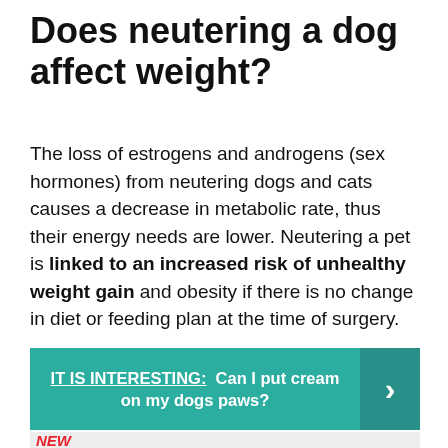Does neutering a dog affect weight?
The loss of estrogens and androgens (sex hormones) from neutering dogs and cats causes a decrease in metabolic rate, thus their energy needs are lower. Neutering a pet is linked to an increased risk of unhealthy weight gain and obesity if there is no change in diet or feeding plan at the time of surgery.
IT IS INTERESTING: Can I put cream on my dogs paws?